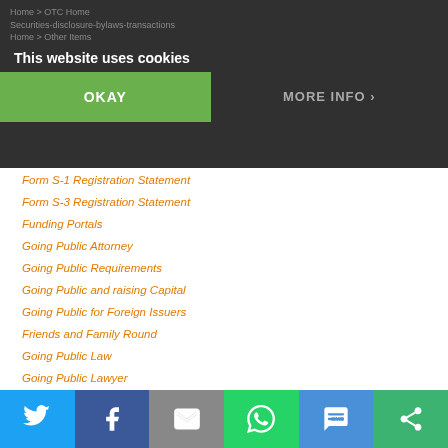This website uses cookies
OKAY
MORE INFO
Form S-1 Registration Statement
Form S-3 Registration Statement
Funding Portals
Going Public Attorney
Going Public Requirements
Going Public and raising Capital
Going Public for Foreign Issuers
Friends and Family Round
Going Public Law
Going Public Lawyer
Going Public Transactions
Initial Public Offerings
Intrastate Crowdfunding
Investor Relations 101
IPO Alternatives
Linkedin
Manipulative Trading
OTC Link
OTC Markets